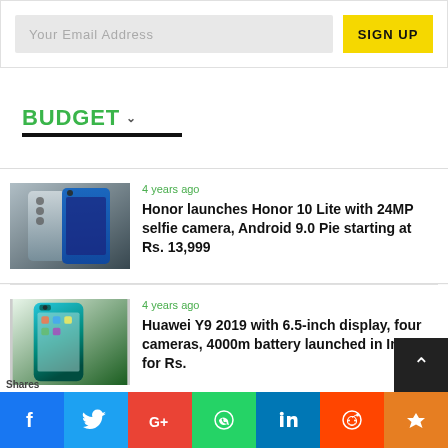Your Email Address
SIGN UP
BUDGET
4 years ago
Honor launches Honor 10 Lite with 24MP selfie camera, Android 9.0 Pie starting at Rs. 13,999
[Figure (photo): Honor 10 Lite smartphones in silver and dark blue colors]
4 years ago
Huawei Y9 2019 with 6.5-inch display, four cameras, 4000m battery launched in India for Rs.
[Figure (photo): Huawei Y9 2019 smartphone in teal/green color]
Shares | Facebook | Twitter | Google+ | WhatsApp | LinkedIn | Reddit | Crown